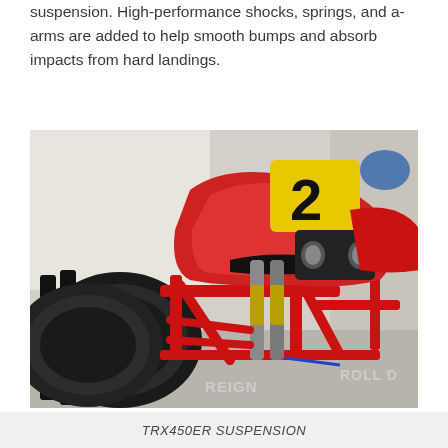suspension. High-performance shocks, springs, and a-arms are added to help smooth bumps and absorb impacts from hard landings.
[Figure (photo): A red TRX450ER ATV quad with large knobby tires, visible suspension components including shocks and a-arms, a yellow number plate with the number 2, and roll bar/cage components, photographed in a garage setting.]
TRX450ER SUSPENSION